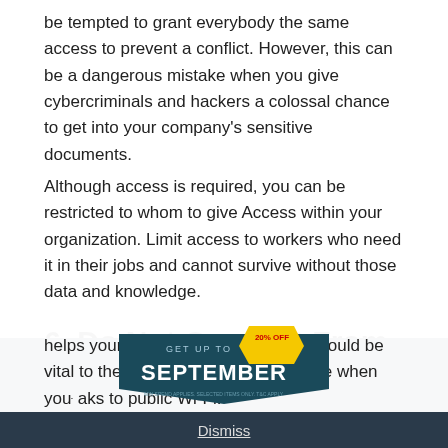be tempted to grant everybody the same access to prevent a conflict. However, this can be a dangerous mistake when you give cybercriminals and hackers a colossal chance to get into your company's sensitive documents.
Although access is required, you can be restricted to whom to give Access within your organization. Limit access to workers who need it in their jobs and cannot survive without those data and knowledge.
6. Do Not Connect From Public Wi-Fis
You must realize that working at home can be a little exhausting. Your remote employees may choose to work in a coffee shop or a
[Figure (other): Advertisement banner for September sale with '20% OFF' yellow badge and 'GET UP TO SEPTEMBER' text on dark teal background]
helps your workers' mental health, it could be vital to the safety of your infrastructure when you connect/talks to public Wi-Fi.
Dismiss